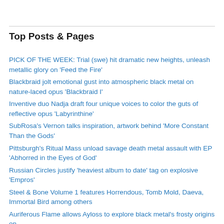Top Posts & Pages
PICK OF THE WEEK: Trial (swe) hit dramatic new heights, unleash metallic glory on 'Feed the Fire'
Blackbraid jolt emotional gust into atmospheric black metal on nature-laced opus 'Blackbraid I'
Inventive duo Nadja draft four unique voices to color the guts of reflective opus 'Labyrinthine'
SubRosa's Vernon talks inspiration, artwork behind 'More Constant Than the Gods'
Pittsburgh's Ritual Mass unload savage death metal assault with EP 'Abhorred in the Eyes of God'
Russian Circles justify 'heaviest album to date' tag on explosive 'Empros'
Steel & Bone Volume 1 features Horrendous, Tomb Mold, Daeva, Immortal Bird among others
Auriferous Flame allows Ayloss to explore black metal's frosty origins on